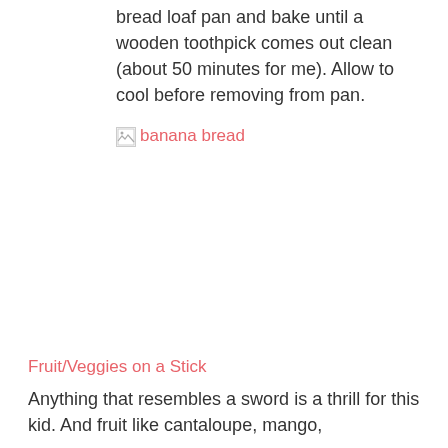bread loaf pan and bake until a wooden toothpick comes out clean (about 50 minutes for me). Allow to cool before removing from pan.
[Figure (photo): Broken/missing image placeholder with alt text 'banana bread']
Fruit/Veggies on a Stick
Anything that resembles a sword is a thrill for this kid. And fruit like cantaloupe, mango,